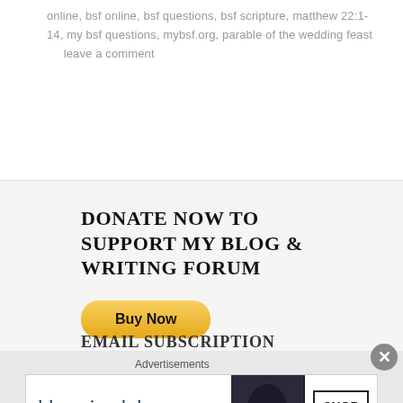online, bsf online, bsf questions, bsf scripture, matthew 22:1-14, my bsf questions, mybsf.org, parable of the wedding feast     leave a comment
DONATE NOW TO SUPPORT MY BLOG & WRITING FORUM
[Figure (other): Yellow PayPal Buy Now button]
EMAIL SUBSCRIPTION
[Figure (other): Bloomingdale's advertisement banner with woman in hat, text: bloomingdales, View Today's Top Deals!, SHOP NOW >]